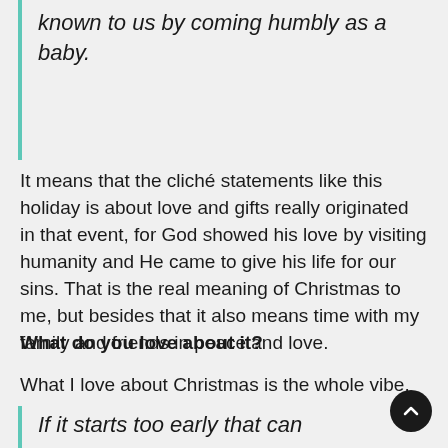known to us by coming humbly as a baby.
It means that the cliché statements like this holiday is about love and gifts really originated in that event, for God showed his love by visiting humanity and He came to give his life for our sins. That is the real meaning of Christmas to me, but besides that it also means time with my family and friends in peace and love.
What do you love about it?
What I love about Christmas is the whole vibe.
If it starts too early that can